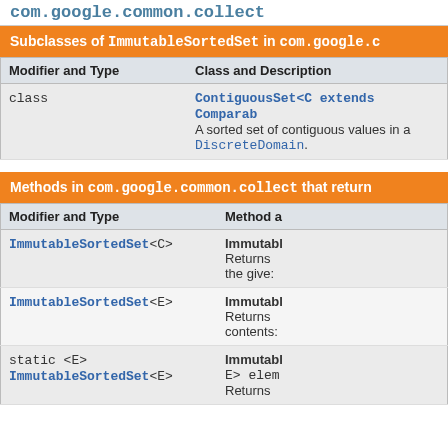com.google.common.collect
| Modifier and Type | Class and Description |
| --- | --- |
| class | ContiguousSet<C extends Comparable>
A sorted set of contiguous values in a DiscreteDomain. |
| Modifier and Type | Method and Description |
| --- | --- |
| ImmutableSortedSet<C> | Immutable...
Returns ... the give... |
| ImmutableSortedSet<E> | Immutable...
Returns ... contents... |
| static <E> ImmutableSortedSet<E> | Immutable...
E> elem...
Returns |